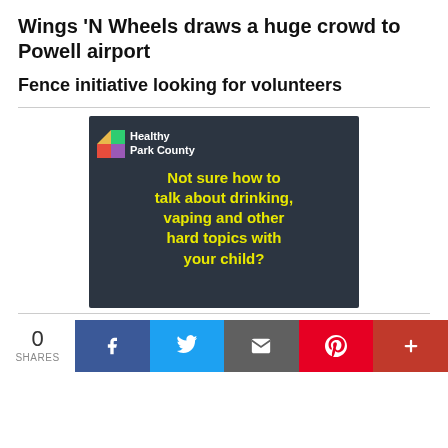Wings 'N Wheels draws a huge crowd to Powell airport
Fence initiative looking for volunteers
[Figure (infographic): Healthy Park County advertisement with dark background showing a child and text: Not sure how to talk about drinking, vaping and other hard topics with your child?]
0 SHARES